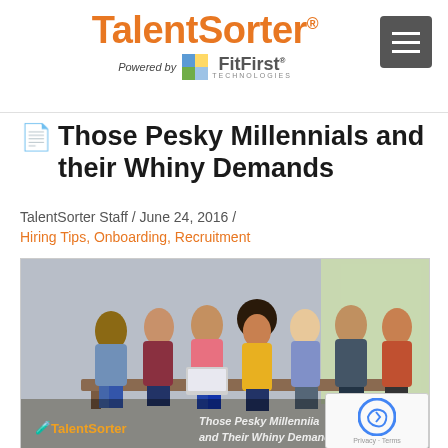TalentSorter® — Powered by FitFirst Technologies
Those Pesky Millennials and their Whiny Demands
TalentSorter Staff / June 24, 2016 /
Hiring Tips, Onboarding, Recruitment
[Figure (photo): Group of seven young diverse millennials sitting on a bench, some holding laptops and tablets, smiling. Image overlaid with TalentSorter logo and title text 'Those Pesky Millennials and Their Whiny Demands'.]